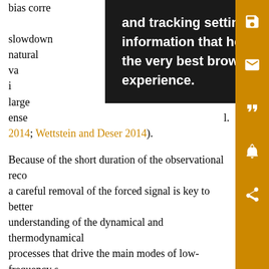bias corre and tracking settings to store arming slowdown information that help give you f natural va the very best browsing ead large ense experience. l. 2014; Wettstein and Deser 2014).
Because of the short duration of the observational record, a careful removal of the forced signal is key to better understanding of the dynamical and thermodynamical processes that drive the main modes of low-frequency sea surface temperature (SST) variability, such as the Atlantic multidecadal oscillation (AMO) and the Pacific decadal oscillation (PDO). For instance, it is generally considered that the Atlantic meridional overturning circulation (AMOC) in part drives the AMO (e.g., Delworth et al. 1993; Knight et al. 2005), and most climate models indeed show that the AMOC leads the AMO, albeit by a